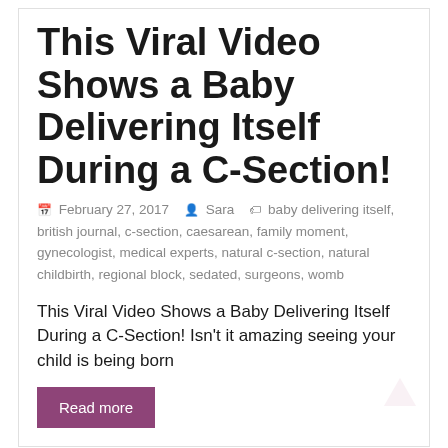This Viral Video Shows a Baby Delivering Itself During a C-Section!
February 27, 2017  Sara  baby delivering itself, british journal, c-section, caesarean, family moment, gynecologist, medical experts, natural c-section, natural childbirth, regional block, sedated, surgeons, womb
This Viral Video Shows a Baby Delivering Itself During a C-Section! Isn't it amazing seeing your child is being born
Read more
News  Video
She Sues Sperm Bank for Mistakenly Using Sperm From a Black Donor